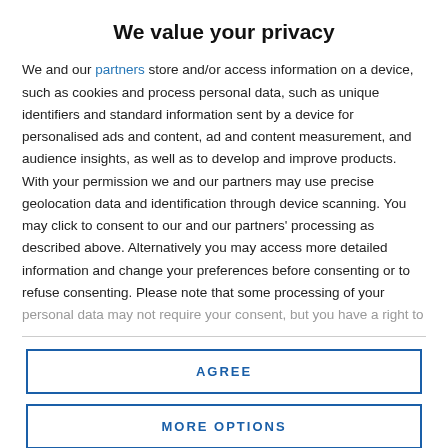We value your privacy
We and our partners store and/or access information on a device, such as cookies and process personal data, such as unique identifiers and standard information sent by a device for personalised ads and content, ad and content measurement, and audience insights, as well as to develop and improve products. With your permission we and our partners may use precise geolocation data and identification through device scanning. You may click to consent to our and our partners' processing as described above. Alternatively you may access more detailed information and change your preferences before consenting or to refuse consenting. Please note that some processing of your personal data may not require your consent, but you have a right to
AGREE
MORE OPTIONS
hospital following an injury and